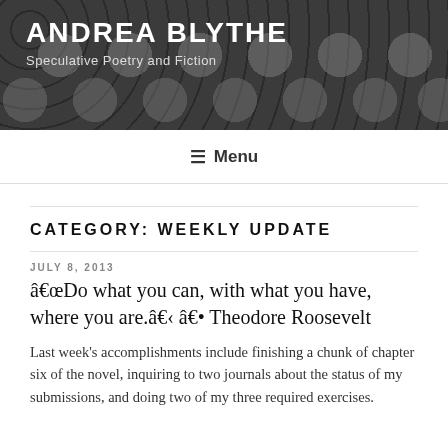ANDREA BLYTHE
Speculative Poetry and Fiction
≡ Menu
CATEGORY: WEEKLY UPDATE
JULY 8, 2013
"Do what you can, with what you have, where you are." – Theodore Roosevelt
Last week's accomplishments include finishing a chunk of chapter six of the novel, inquiring to two journals about the status of my submissions, and doing two of my three required exercises.